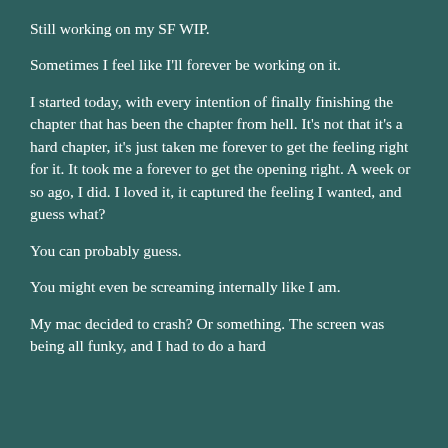Still working on my SF WIP.
Sometimes I feel like I'll forever be working on it.
I started today, with every intention of finally finishing the chapter that has been the chapter from hell. It's not that it's a hard chapter, it's just taken me forever to get the feeling right for it. It took me a forever to get the opening right. A week or so ago, I did. I loved it, it captured the feeling I wanted, and guess what?
You can probably guess.
You might even be screaming internally like I am.
My mac decided to crash? Or something. The screen was being all funky, and I had to do a hard